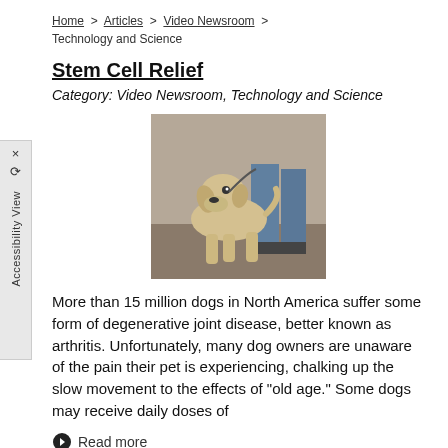Home > Articles > Video Newsroom > Technology and Science
Stem Cell Relief
Category: Video Newsroom, Technology and Science
[Figure (photo): A yellow Labrador dog being led by a person in blue scrubs in a corridor]
More than 15 million dogs in North America suffer some form of degenerative joint disease, better known as arthritis. Unfortunately, many dog owners are unaware of the pain their pet is experiencing, chalking up the slow movement to the effects of "old age." Some dogs may receive daily doses of
Read more